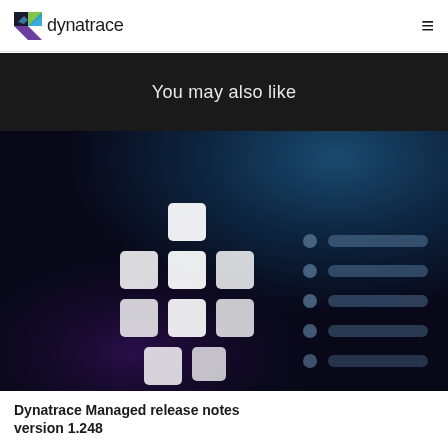dynatrace
You may also like
[Figure (illustration): Dynatrace logo mark composed of white rounded squares arranged in a cross/grid pattern, on a dark background with blue-teal gradient in upper right, and decorative horizontal lines with dots on the right side]
Dynatrace Managed release notes version 1.248